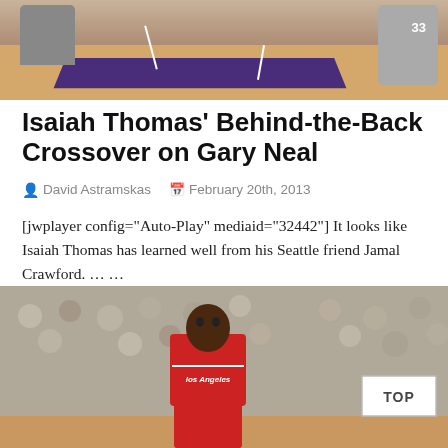[Figure (photo): Basketball court aerial/angled view with players visible, purple court markings, one player wearing jersey #33]
Isaiah Thomas' Behind-the-Back Crossover on Gary Neal
David Astramskas   February 20th, 2013
[jwplayer config="Auto-Play" mediaid="32442"] It looks like Isaiah Thomas has learned well from his Seattle friend Jamal Crawford.  ... ...
View More »
[Figure (photo): NBA player in Los Angeles Clippers red jersey looking upward, crowd visible in background, TOP button overlay in corner]